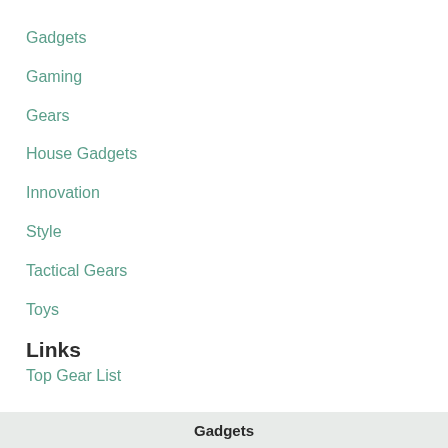Gadgets
Gaming
Gears
House Gadgets
Innovation
Style
Tactical Gears
Toys
Links
Top Gear List
Gadgets